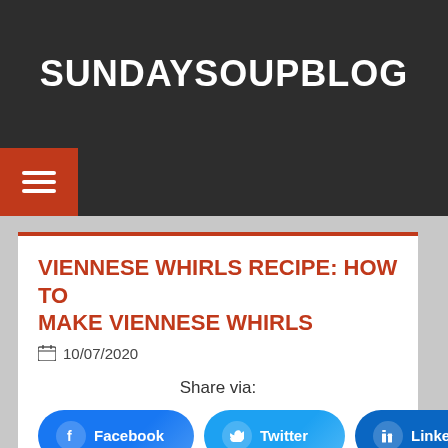SUNDAYSOUPBLOG
VIENNESE WHIRLS RECIPE: HOW TO MAKE VIENNESE WHIRLS
10/07/2020
Share via:
Facebook
Twitter
LinkedIn
+ More